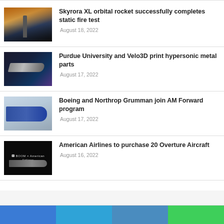Skyrora XL orbital rocket successfully completes static fire test — August 18, 2022
Purdue University and Velo3D print hypersonic metal parts — August 17, 2022
Boeing and Northrop Grumman join AM Forward program — August 17, 2022
American Airlines to purchase 20 Overture Aircraft — August 16, 2022
[Figure (illustration): Footer color bar with four colored segments: blue, light blue, steel blue, green]